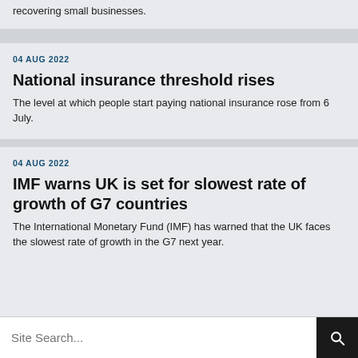recovering small businesses.
04 AUG 2022
National insurance threshold rises
The level at which people start paying national insurance rose from 6 July.
04 AUG 2022
IMF warns UK is set for slowest rate of growth of G7 countries
The International Monetary Fund (IMF) has warned that the UK faces the slowest rate of growth in the G7 next year.